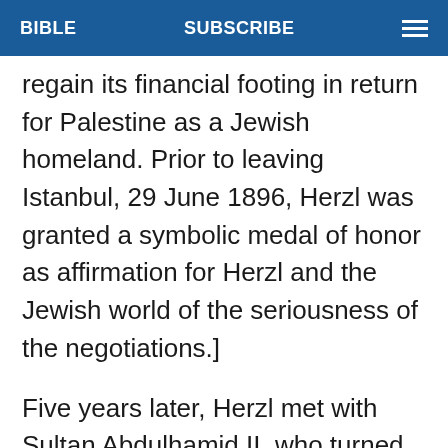BIBLE   SUBSCRIBE   ☰
regain its financial footing in return for Palestine as a Jewish homeland. Prior to leaving Istanbul, 29 June 1896, Herzl was granted a symbolic medal of honor as affirmation for Herzl and the Jewish world of the seriousness of the negotiations.]
Five years later, Herzl met with Sultan Abdulhamid II, who turned down Herzl's offer to consolidate the Ottoman debt in exchange for